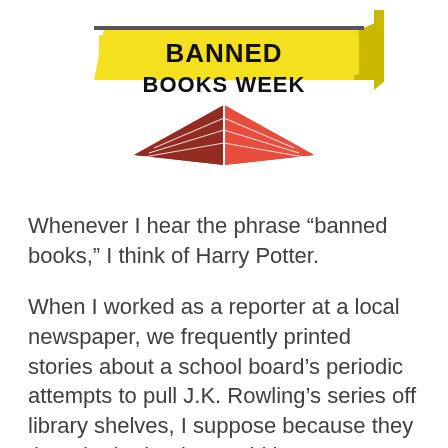[Figure (logo): Banned Books Week logo: yellow banner with 'BANNED BOOKS WEEK' text in bold black, overlaid on a red open book graphic with a yellow ribbon]
Whenever I hear the phrase “banned books,” I think of Harry Potter.
When I worked as a reporter at a local newspaper, we frequently printed stories about a school board’s periodic attempts to pull J.K. Rowling’s series off library shelves, I suppose because they thought the books would lure